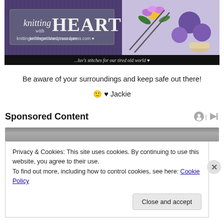[Figure (illustration): Knitting with Heart blog banner. Left side shows the blog logo text 'knitting with HEART' with 'with' in smaller text, website URL 'knittingwithheart.wordpress.com' and a small heart icon, on a purple textured knit background. Right side shows a photo of flowers (pansies), yarn balls in purple, and knitting needles in a teacup arrangement. Bottom bar reads '...luv's stitches for our tired old world' with a heart icon.]
Be aware of your surroundings and keep safe out there!
🙂 ♥ Jackie
Sponsored Content
Privacy & Cookies: This site uses cookies. By continuing to use this website, you agree to their use.
To find out more, including how to control cookies, see here: Cookie Policy
Close and accept